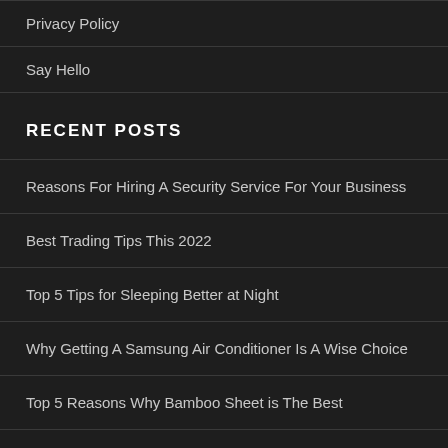Privacy Policy
Say Hello
RECENT POSTS
Reasons For Hiring A Security Service For Your Business
Best Trading Tips This 2022
Top 5 Tips for Sleeping Better at Night
Why Getting A Samsung Air Conditioner Is A Wise Choice
Top 5 Reasons Why Bamboo Sheet is The Best